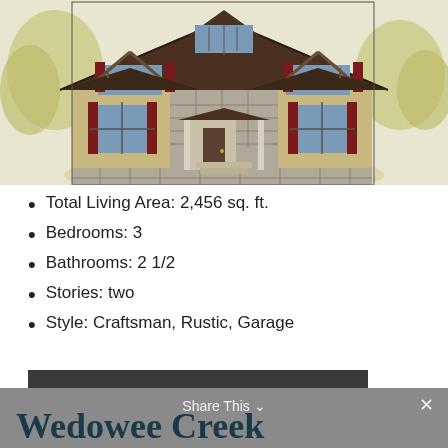[Figure (illustration): Colored architectural rendering of a two-story Craftsman/Rustic style house with stone and wood siding, dark shutters, covered front porch, dormers, and decorative gable details, set against a light background with trees]
Total Living Area: 2,456 sq. ft.
Bedrooms: 3
Bathrooms: 2 1/2
Stories: two
Style: Craftsman, Rustic, Garage
VIEW HOUSE PLAN
Share This  Wedowee Creek